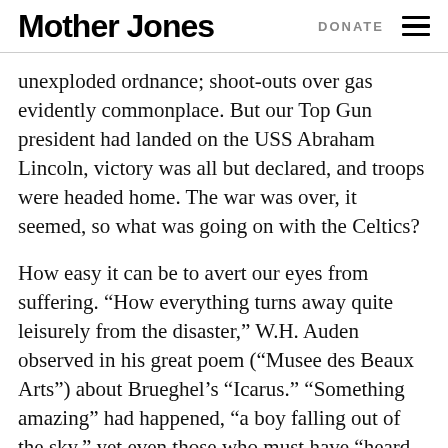Mother Jones | DONATE
unexploded ordnance; shoot-outs over gas evidently commonplace. But our Top Gun president had landed on the USS Abraham Lincoln, victory was all but declared, and troops were headed home. The war was over, it seemed, so what was going on with the Celtics?
How easy it can be to avert our eyes from suffering. “How everything turns away quite leisurely from the disaster,” W.H. Auden observed in his great poem (“Musee des Beaux Arts”) about Brueghel’s “Icarus.” “Something amazing” had happened, “a boy falling out of the sky,” yet even those who must have “heard the splash, the forsaken cry. . .had